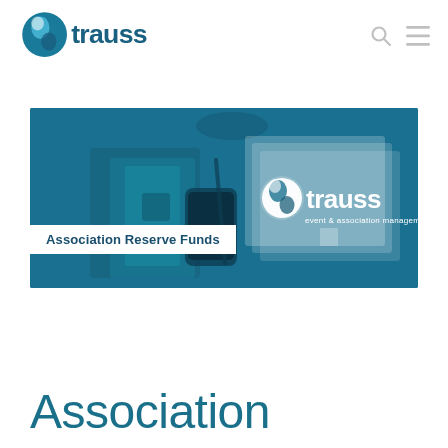[Figure (logo): Strauss event & association management logo in teal/dark blue with circular S icon]
[Figure (photo): Hero banner image showing a teal-tinted desk scene with notebooks, phone, pen, and tax/withholding documents, overlaid with white Strauss event & association management logo and a white label band reading 'Association Reserve Funds']
Association